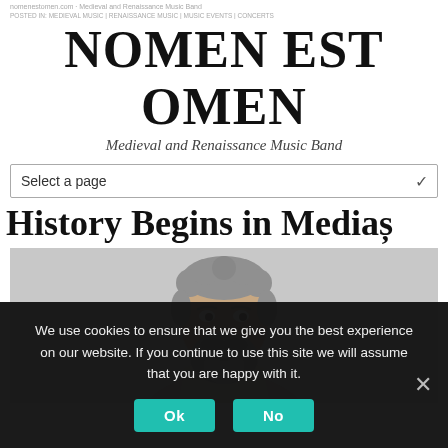NOMEN EST OMEN
Medieval and Renaissance Music Band
Select a page
History Begins in Mediaș
[Figure (photo): Bearded man with grey curly hair smiling, wearing a light-colored medieval-style garment, on a light grey background]
We use cookies to ensure that we give you the best experience on our website. If you continue to use this site we will assume that you are happy with it.